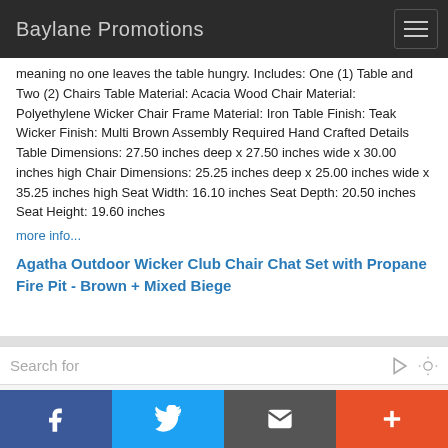Baylane Promotions
meaning no one leaves the table hungry. Includes: One (1) Table and Two (2) Chairs Table Material: Acacia Wood Chair Material: Polyethylene Wicker Chair Frame Material: Iron Table Finish: Teak Wicker Finish: Multi Brown Assembly Required Hand Crafted Details Table Dimensions: 27.50 inches deep x 27.50 inches wide x 30.00 inches high Chair Dimensions: 25.25 inches deep x 25.00 inches wide x 35.25 inches high Seat Width: 16.10 inches Seat Depth: 20.50 inches Seat Height: 19.60 inches
more info...
Agatha Outdoor Wicker Club Chair Chat Set with Propane Fire Pit - Brown + Mixed Biege
[Figure (photo): Product image area partially visible at bottom of page]
Search for | Facebook | Twitter | Email | Plus